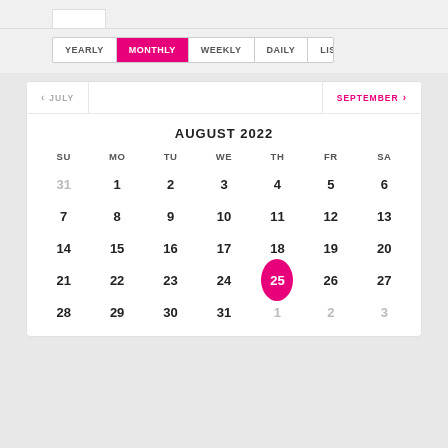[Figure (other): Calendar view tab bar with options: YEARLY, MONTHLY (selected/active in pink), WEEKLY, DAILY, LIST]
[Figure (other): Monthly calendar for August 2022 with navigation to JULY (left) and SEPTEMBER (right). Day 25 (Thursday) is highlighted with a pink circle. Days 31 (July), and 1, 2, 3 (September) shown in grey.]